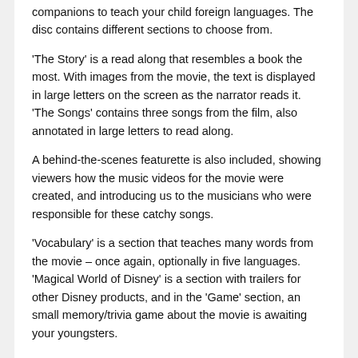companions to teach your child foreign languages. The disc contains different sections to choose from.
'The Story' is a read along that resembles a book the most. With images from the movie, the text is displayed in large letters on the screen as the narrator reads it. 'The Songs' contains three songs from the film, also annotated in large letters to read along.
A behind-the-scenes featurette is also included, showing viewers how the music videos for the movie were created, and introducing us to the musicians who were responsible for these catchy songs.
'Vocabulary' is a section that teaches many words from the movie – once again, optionally in five languages. 'Magical World of Disney' is a section with trailers for other Disney products, and in the 'Game' section, an small memory/trivia game about the movie is awaiting your youngsters.